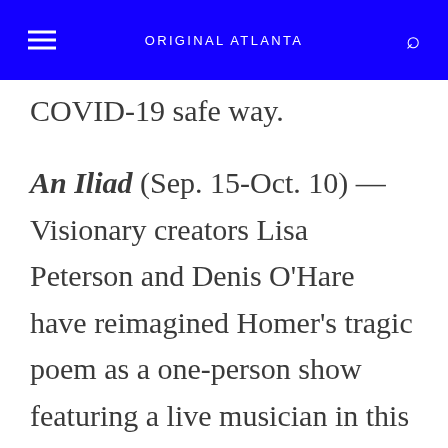ORIGINAL ATLANTA
COVID-19 safe way.
An Iliad (Sep. 15-Oct. 10) — Visionary creators Lisa Peterson and Denis O'Hare have reimagined Homer's tragic poem as a one-person show featuring a live musician in this sweeping account of humanity's unshakeable attraction to war and the heroes that rise and fall in times of chaos.